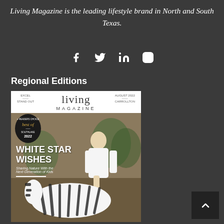Living Magazine is the leading lifestyle brand in North and South Texas.
[Figure (other): Social media icons: Facebook, Twitter, LinkedIn, Instagram]
Regional Editions
[Figure (photo): Living Magazine cover showing 'WHITE STAR WISHES - Sharing Nature With the Next Generation of Kids' with a man posing next to a zebra. Best of 2022 badge visible. August 2022 issue.]
[Figure (other): Back to top arrow button]